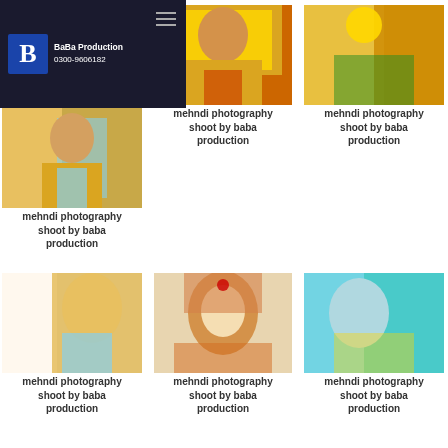BaBa Production 0300-9606182
[Figure (photo): Mehndi photography - woman in yellow and teal dress]
mehndi photography shoot by baba production
[Figure (photo): Mehndi photography - woman in yellow dress with henna hands]
mehndi photography shoot by baba production
[Figure (photo): Mehndi photography - hands with marigold flowers]
mehndi photography shoot by baba production
[Figure (photo): Mehndi photography - woman in yellow outfit]
mehndi photography shoot by baba production
[Figure (photo): Mehndi photography - woman smiling in colorful dupatta]
mehndi photography shoot by baba production
[Figure (photo): Mehndi photography - woman in teal outfit with flowers]
mehndi photography shoot by baba production
[Figure (photo): Mehndi photography - woman in orange yellow dress]
mehndi photography shoot by baba production
[Figure (photo): Mehndi photography - woman in yellow dress dark background]
mehndi photography shoot by baba production
[Figure (photo): Mehndi photography - woman in yellow green outfit]
mehndi photography shoot by baba production